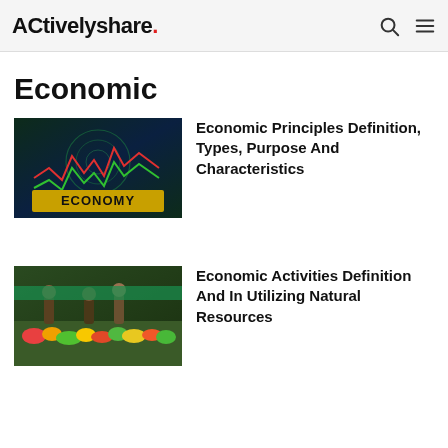ACtivelyshare.
Economic
[Figure (photo): Economy banner image showing stock market graph with ECONOMY text on green digital background]
Economic Principles Definition, Types, Purpose And Characteristics
[Figure (photo): Market scene showing vendors at a produce/vegetable market with people shopping]
Economic Activities Definition And In Utilizing Natural Resources